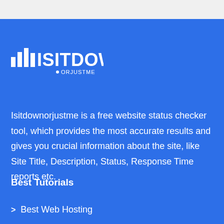[Figure (logo): isitdownorjustme logo with bar chart icon and text ISITDOWN ORJUSTME]
Isitdownorjustme is a free website status checker tool, which provides the most accurate results and gives you crucial information about the site, like Site Title, Description, Status, Response Time reports etc.
Best Tutorials
Best Web Hosting